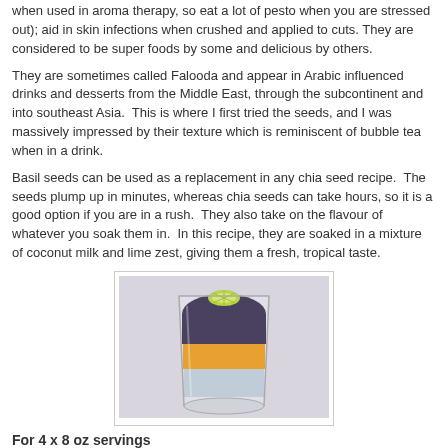when used in aroma therapy, so eat a lot of pesto when you are stressed out); aid in skin infections when crushed and applied to cuts. They are considered to be super foods by some and delicious by others.
They are sometimes called Falooda and appear in Arabic influenced drinks and desserts from the Middle East, through the subcontinent and into southeast Asia.  This is where I first tried the seeds, and I was massively impressed by their texture which is reminiscent of bubble tea when in a drink.
Basil seeds can be used as a replacement in any chia seed recipe.  The seeds plump up in minutes, whereas chia seeds can take hours, so it is a good option if you are in a rush.  They also take on the flavour of whatever you soak them in.  In this recipe, they are soaked in a mixture of coconut milk and lime zest, giving them a fresh, tropical taste.
[Figure (photo): A glass containing layered basil seed drink with dark seeds on top, orange/yellow middle layer, and lighter seeds at the bottom, garnished with a lime slice.]
For 4 x 8 oz servings
3 tablespoons basil seeds